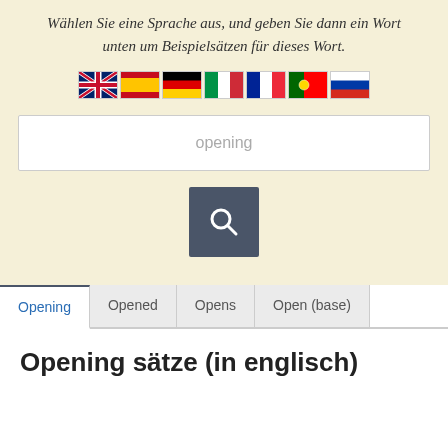Wählen Sie eine Sprache aus, und geben Sie dann ein Wort unten um Beispielsätzen für dieses Wort.
[Figure (illustration): Row of country flag icons: UK/English, Spain, Germany, Italy, France, Portugal, Russia]
[Figure (screenshot): Search input field with placeholder text 'opening']
[Figure (illustration): Dark search button with magnifying glass icon]
Opening | Opened | Opens | Open (base) — tab navigation
Opening sätze (in englisch)